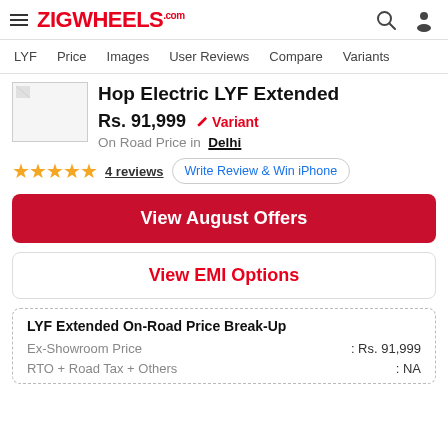ZIGWHEELS.com
LYF  Price  Images  User Reviews  Compare  Variants
[Figure (photo): Photo of LYF (broken image placeholder)]
Hop Electric LYF Extended
Rs. 91,999  ✏ Variant
On Road Price in  Delhi
★★★★★  4 reviews  Write Review & Win iPhone
View August Offers
View EMI Options
LYF Extended On-Road Price Break-Up
Ex-Showroom Price : Rs. 91,999
RTO + Road Tax + Others : NA